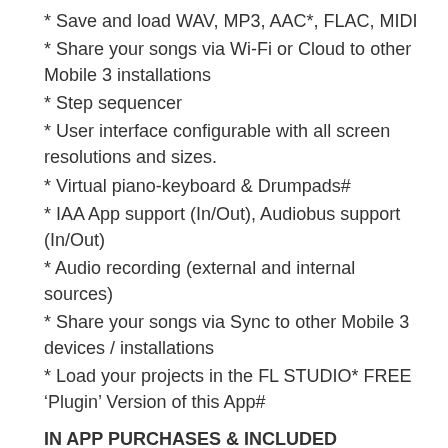* Save and load WAV, MP3, AAC*, FLAC, MIDI
* Share your songs via Wi-Fi or Cloud to other Mobile 3 installations
* Step sequencer
* User interface configurable with all screen resolutions and sizes.
* Virtual piano-keyboard & Drumpads#
* IAA App support (In/Out), Audiobus support (In/Out)
* Audio recording (external and internal sources)
* Share your songs via Sync to other Mobile 3 devices / installations
* Load your projects in the FL STUDIO* FREE ‘Plugin’ Version of this App#
IN APP PURCHASES & INCLUDED CONTENT
FL Studio Mobile includes in-app purchases for the DirectWave sample player. You can install your own samples and don’t need to buy content.
All Instrument modules are included: Drum Sampler,